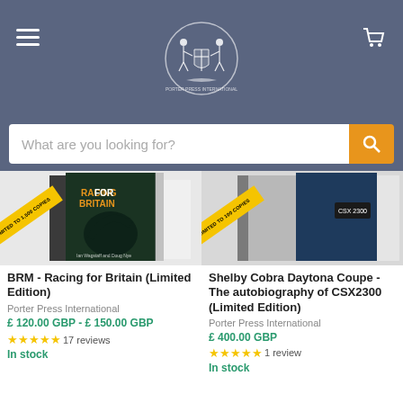[Figure (logo): Porter Press International logo — circular crest with two figures holding a shield, on dark blue-grey header background]
What are you looking for?
[Figure (photo): BRM Racing for Britain book cover — dark green with orange title text, shown with side view, 'Limited to 1,500 copies' yellow diagonal badge]
BRM - Racing for Britain (Limited Edition)
Porter Press International
£ 120.00 GBP - £ 150.00 GBP
17 reviews
In stock
[Figure (photo): Shelby Cobra Daytona Coupe CSX2300 book — navy blue and grey hardcover with CSX 2300 label, 'Limited to 100 copies' yellow diagonal badge]
Shelby Cobra Daytona Coupe - The autobiography of CSX2300 (Limited Edition)
Porter Press International
£ 400.00 GBP
1 review
In stock